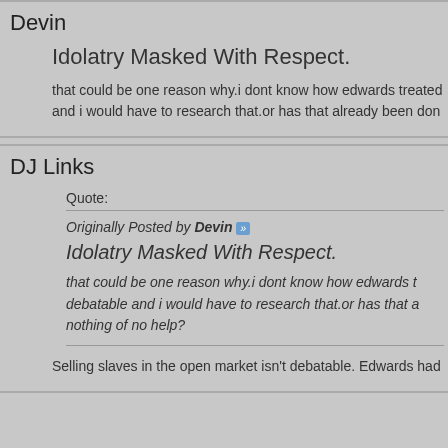Devin
Idolatry Masked With Respect.
that could be one reason why.i dont know how edwards treated and i would have to research that.or has that already been don
DJ Links
Quote:
Originally Posted by Devin
Idolatry Masked With Respect.
that could be one reason why.i dont know how edwards t debatable and i would have to research that.or has that a nothing of no help?
Selling slaves in the open market isn't debatable. Edwards had